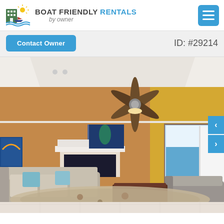BOAT FRIENDLY RENTALS by owner
Contact Owner   ID: #29214
[Figure (photo): Interior living room of a vacation rental condo with ceiling fan, fireplace, yellow walls, sofas, armchairs, patterned rug, coffee table, TV, and sliding glass doors opening to a balcony with water view.]